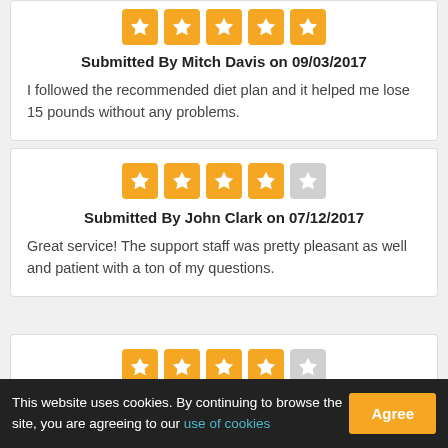Submitted By Mitch Davis on 09/03/2017
I followed the recommended diet plan and it helped me lose 15 pounds without any problems.
Submitted By John Clark on 07/12/2017
Great service! The support staff was pretty pleasant as well and patient with a ton of my questions.
This website uses cookies. By continuing to browse the site, you are agreeing to our use of cookies